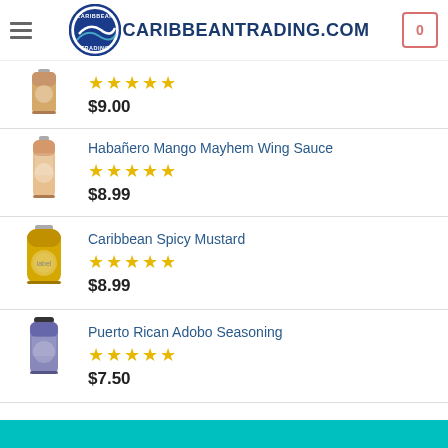CARIBBEANTRADING.COM
$9.00, 5 stars
Habañero Mango Mayhem Wing Sauce, 5 stars, $8.99
Caribbean Spicy Mustard, 5 stars, $8.99
Puerto Rican Adobo Seasoning, 5 stars, $7.50